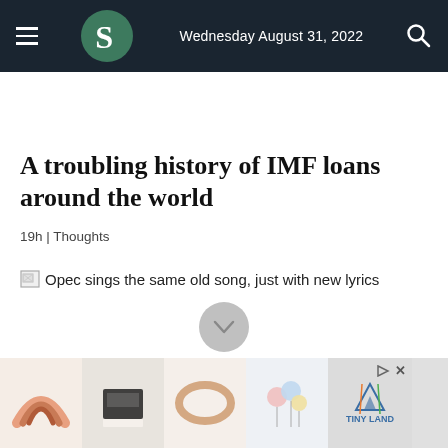Wednesday August 31, 2022
A troubling history of IMF loans around the world
19h | Thoughts
Opec sings the same old song, just with new lyrics
[Figure (other): Advertisement banner with product images and Tiny Land brand logo]